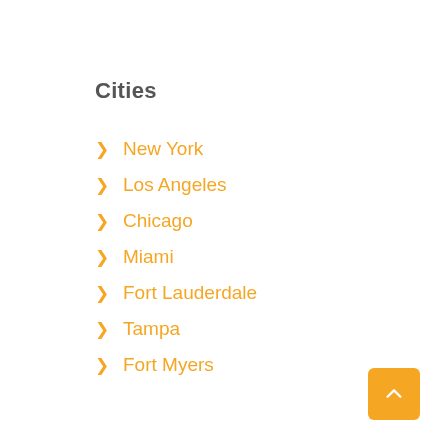Cities
New York
Los Angeles
Chicago
Miami
Fort Lauderdale
Tampa
Fort Myers